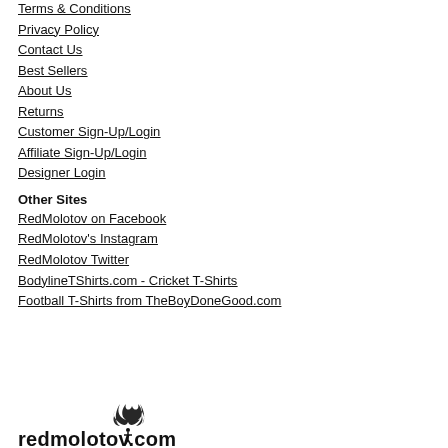Terms & Conditions
Privacy Policy
Contact Us
Best Sellers
About Us
Returns
Customer Sign-Up/Login
Affiliate Sign-Up/Login
Designer Login
Other Sites
RedMolotov on Facebook
RedMolotov's Instagram
RedMolotov Twitter
BodylineTShirts.com - Cricket T-Shirts
Football T-Shirts from TheBoyDoneGood.com
[Figure (logo): redmolotov.com logo with flame icon above the text]